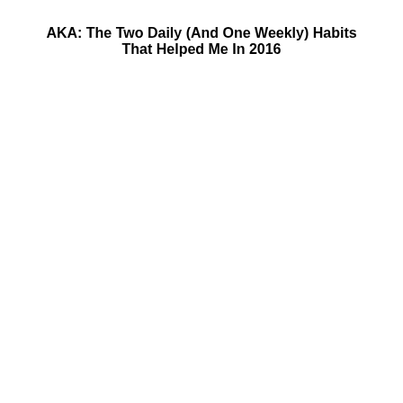AKA: The Two Daily (And One Weekly) Habits That Helped Me In 2016